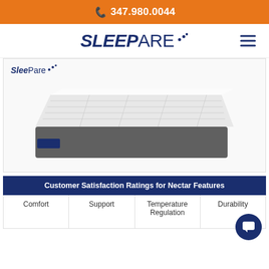347.980.0044
SLEEPARE
[Figure (screenshot): SleePare branded mattress product photo showing a white quilted top mattress with gray base and a small blue brand tag]
Customer Satisfaction Ratings for Nectar Features
Comfort
Support
Temperature Regulation
Durability